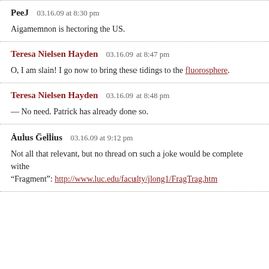PeeJ  03.16.09 at 8:30 pm
Aigamemnon is hectoring the US.
Teresa Nielsen Hayden  03.16.09 at 8:47 pm
O, I am slain! I go now to bring these tidings to the fluorosphere.
Teresa Nielsen Hayden  03.16.09 at 8:48 pm
— No need. Patrick has already done so.
Aulus Gellius  03.16.09 at 9:12 pm
Not all that relevant, but no thread on such a joke would be complete withe "Fragment": http://www.luc.edu/faculty/jlong1/FragTrag.htm